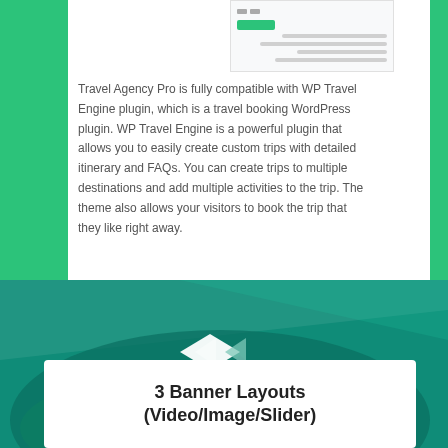[Figure (screenshot): Screenshot of a WordPress admin or front-end interface showing a green button/bar and menu lines]
Travel Agency Pro is fully compatible with WP Travel Engine plugin, which is a travel booking WordPress plugin. WP Travel Engine is a powerful plugin that allows you to easily create custom trips with detailed itinerary and FAQs. You can create trips to multiple destinations and add multiple activities to the trip. The theme also allows your visitors to book the trip that they like right away.
[Figure (illustration): Teal/green gradient section with a mountain landscape and a diamond-shaped logo/icon in the center]
3 Banner Layouts (Video/Image/Slider)